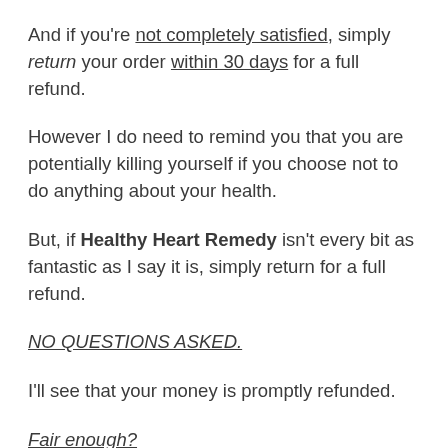And if you're not completely satisfied, simply return your order within 30 days for a full refund.
However I do need to remind you that you are potentially killing yourself if you choose not to do anything about your health.
But, if Healthy Heart Remedy isn't every bit as fantastic as I say it is, simply return for a full refund.
NO QUESTIONS ASKED.
I'll see that your money is promptly refunded.
Fair enough?